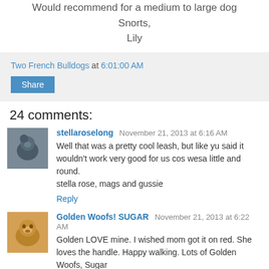Would recommend for a medium to large dog
Snorts,
Lily
Two French Bulldogs at 6:01:00 AM
Share
24 comments:
stellaroselong November 21, 2013 at 6:16 AM
Well that was a pretty cool leash, but like yu said it wouldn't work very good for us cos wesa little and round.
stella rose, mags and gussie
Reply
Golden Woofs! SUGAR November 21, 2013 at 6:22 AM
Golden LOVE mine. I wished mom got it on red. She loves the handle. Happy walking. Lots of Golden Woofs, Sugar